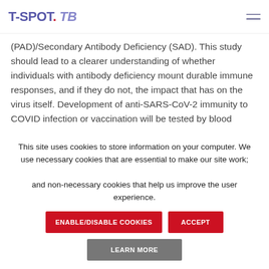T-SPOT. TB
(PAD)/Secondary Antibody Deficiency (SAD). This study should lead to a clearer understanding of whether individuals with antibody deficiency mount durable immune responses, and if they do not, the impact that has on the virus itself. Development of anti-SARS-CoV-2 immunity to COVID infection or vaccination will be tested by blood
This site uses cookies to store information on your computer. We use necessary cookies that are essential to make our site work; and non-necessary cookies that help us improve the user experience.
ENABLE/DISABLE COOKIES | ACCEPT | LEARN MORE